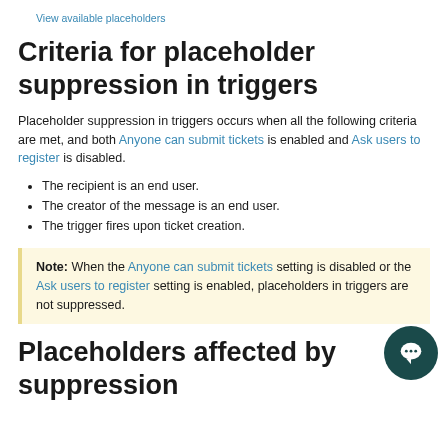View available placeholders
Criteria for placeholder suppression in triggers
Placeholder suppression in triggers occurs when all the following criteria are met, and both Anyone can submit tickets is enabled and Ask users to register is disabled.
The recipient is an end user.
The creator of the message is an end user.
The trigger fires upon ticket creation.
Note: When the Anyone can submit tickets setting is disabled or the Ask users to register setting is enabled, placeholders in triggers are not suppressed.
Placeholders affected by suppression